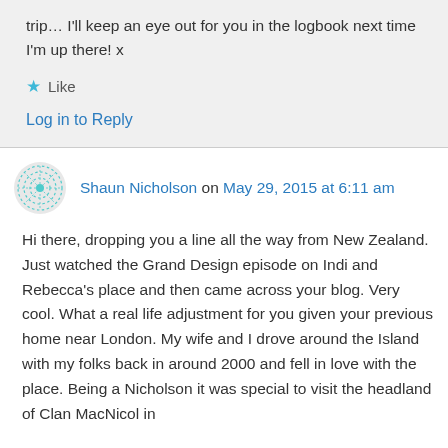trip… I'll keep an eye out for you in the logbook next time I'm up there! x
★ Like
Log in to Reply
Shaun Nicholson on May 29, 2015 at 6:11 am
Hi there, dropping you a line all the way from New Zealand. Just watched the Grand Design episode on Indi and Rebecca's place and then came across your blog. Very cool. What a real life adjustment for you given your previous home near London. My wife and I drove around the Island with my folks back in around 2000 and fell in love with the place. Being a Nicholson it was special to visit the headland of Clan MacNicol in